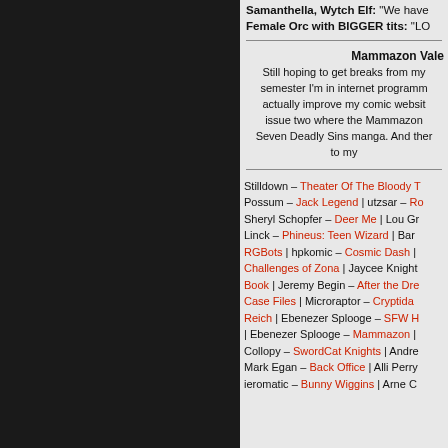Samanthella, Wytch Elf: "We have... Female Orc with BIGGER tits: "LO...
Mammazon Vale
Still hoping to get breaks from my semester I'm in internet programm actually improve my comic websit issue two where the Mammazon Seven Deadly Sins manga. And ther to my
Stilldown – Theater Of The Bloody T | Possum – Jack Legend | utzsar – Ro | Sheryl Schopfer – Deer Me | Lou Gr | Linck – Phineus: Teen Wizard | Bar | RGBots | hpkomic – Cosmic Dash | Challenges of Zona | Jaycee Knight | Book | Jeremy Begin – After the Dre | Case Files | Microraptor – Cryptida | Reich | Ebenezer Splooge – SFW H | Ebenezer Splooge – Mammazon | Collopy – SwordCat Knights | Andre | Mark Egan – Back Office | Alli Perry | ieromatic – Bunny Wiggins | Arne C